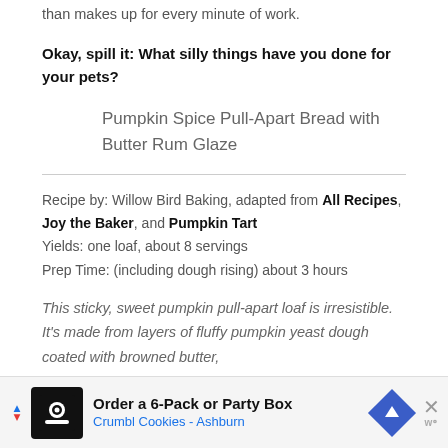than makes up for every minute of work.
Okay, spill it: What silly things have you done for your pets?
Pumpkin Spice Pull-Apart Bread with Butter Rum Glaze
Recipe by: Willow Bird Baking, adapted from All Recipes, Joy the Baker, and Pumpkin Tart
Yields: one loaf, about 8 servings
Prep Time: (including dough rising) about 3 hours
This sticky, sweet pumpkin pull-apart loaf is irresistible. It's made from layers of fluffy pumpkin yeast dough coated with browned butter,
[Figure (other): Advertisement banner for Crumbl Cookies - Ashburn: Order a 6-Pack or Party Box]